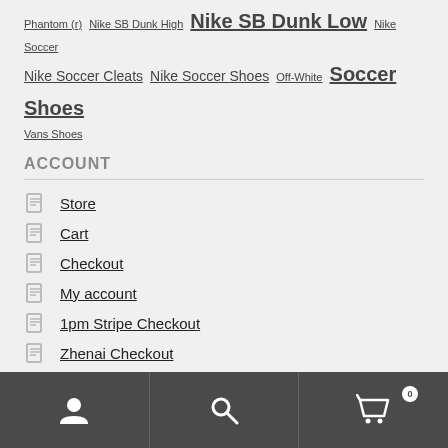Phantom (r) Nike SB Dunk High Nike SB Dunk Low Nike Soccer Nike Soccer Cleats Nike Soccer Shoes Off-White Soccer Shoes Vans Shoes
ACCOUNT
Store
Cart
Checkout
My account
1pm Stripe Checkout
Zhenai Checkout
Yonglipayst Checkout
User icon | Search icon | Cart 0